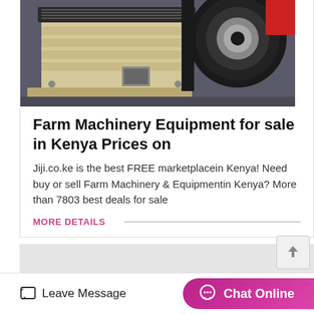[Figure (photo): Industrial jaw crusher / farm machinery equipment - cream/beige colored heavy machine with black belt pulley on the right, photographed close up]
Farm Machinery Equipment for sale in Kenya Prices on
Jiji.co.ke is the best FREE marketplacein Kenya! Need buy or sell Farm Machinery & Equipmentin Kenya? More than 7803 best deals for sale
MORE DETAILS
Leave Message
Chat Online